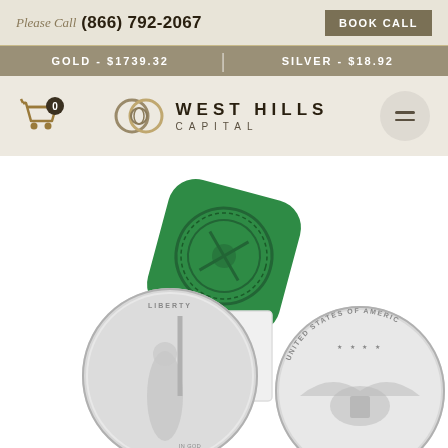Please Call (866) 792-2067 | BOOK CALL
GOLD - $1739.32 | SILVER - $18.92
[Figure (logo): West Hills Capital logo with interlocking rings and cart icon with 0 badge, plus hamburger menu button]
[Figure (photo): Silver American Eagle coins (obverse showing Liberty and reverse showing eagle) alongside a green US Mint coin tube cap]